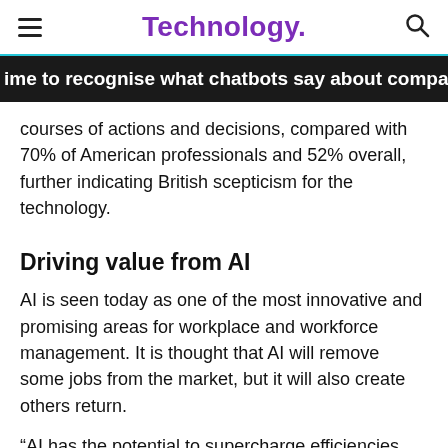Technology.
ime to recognise what chatbots say about company culture
courses of actions and decisions, compared with 70% of American professionals and 52% overall, further indicating British scepticism for the technology.
Driving value from AI
AI is seen today as one of the most innovative and promising areas for workplace and workforce management. It is thought that AI will remove some jobs from the market, but it will also create others return.
“AI has the potential to supercharge efficiencies, automate laborious tasks and improve decision making, but as our findings show, fears that workers